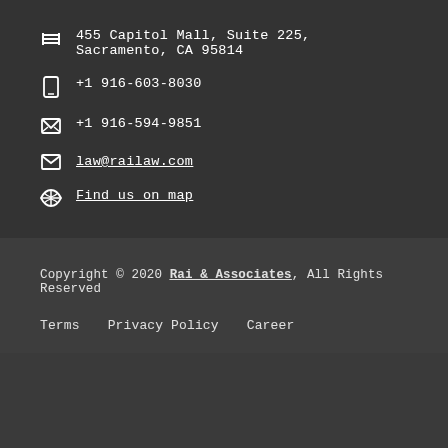455 Capitol Mall, Suite 225, Sacramento, CA 95814
+1 916-603-8030
+1 916-594-9851
law@railaw.com
Find us on map
Copyright © 2020 Rai & Associates, All Rights Reserved
Terms  Privacy Policy  Career